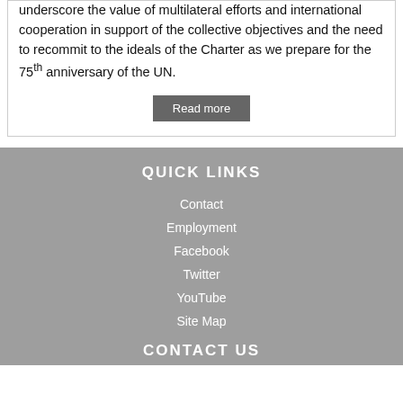underscore the value of multilateral efforts and international cooperation in support of the collective objectives and the need to recommit to the ideals of the Charter as we prepare for the 75th anniversary of the UN.
Read more
QUICK LINKS
Contact
Employment
Facebook
Twitter
YouTube
Site Map
CONTACT US